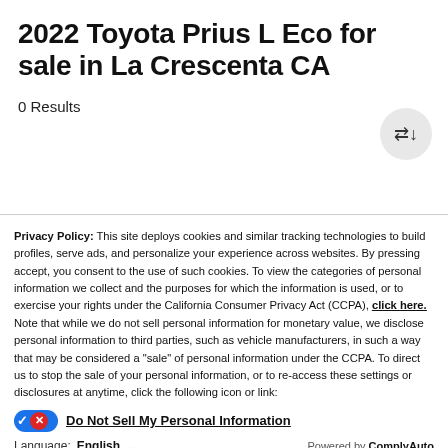2022 Toyota Prius L Eco for sale in La Crescenta CA
0 Results
Privacy Policy: This site deploys cookies and similar tracking technologies to build profiles, serve ads, and personalize your experience across websites. By pressing accept, you consent to the use of such cookies. To view the categories of personal information we collect and the purposes for which the information is used, or to exercise your rights under the California Consumer Privacy Act (CCPA), click here. Note that while we do not sell personal information for monetary value, we disclose personal information to third parties, such as vehicle manufacturers, in such a way that may be considered a "sale" of personal information under the CCPA. To direct us to stop the sale of your personal information, or to re-access these settings or disclosures at anytime, click the following icon or link:
Do Not Sell My Personal Information
Language: English  Powered by ComplyAuto
Accept and Continue → | California Privacy Disclosures | ×